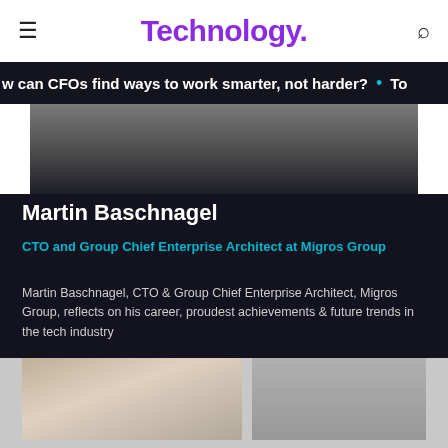Technology.
w can CFOs find ways to work smarter, not harder?  •  To
[Figure (photo): Partial photo of Martin Baschnagel, cropped at top]
Martin Baschnagel
CTO and Group Chief Enterprise Architect at Migros Group
Martin Baschnagel, CTO & Group Chief Enterprise Architect, Migros Group, reflects on his career, proudest achievements & future trends in the tech industry
Read More >
[Figure (photo): Thumbnail photo at bottom left]
[Figure (photo): Thumbnail photo at bottom right]